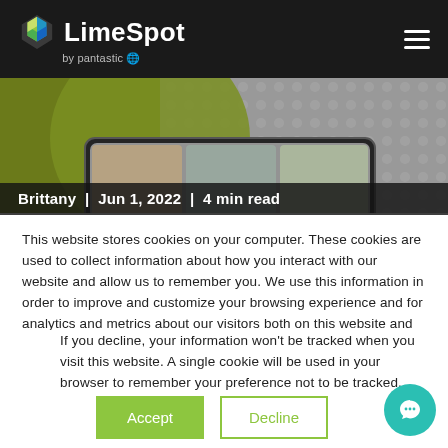LimeSpot by pantastic — navigation header
[Figure (screenshot): Hero banner image showing a device mockup with green background and dot pattern overlay]
Brittany  |  Jun 1, 2022  |  4 min read
This website stores cookies on your computer. These cookies are used to collect information about how you interact with our website and allow us to remember you. We use this information in order to improve and customize your browsing experience and for analytics and metrics about our visitors both on this website and other media. To find out more about the cookies we use, see our Privacy Policy.
If you decline, your information won't be tracked when you visit this website. A single cookie will be used in your browser to remember your preference not to be tracked.
Accept
Decline